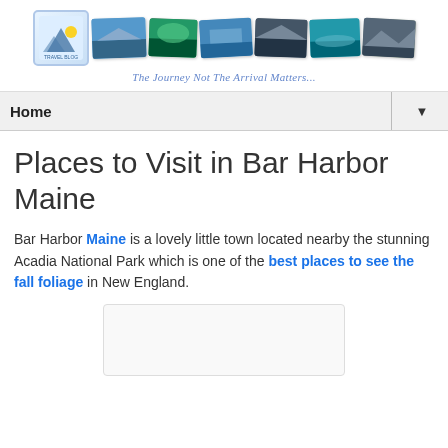[Figure (logo): Travel blog header with logo and row of travel photo thumbnails, tagline: The Journey Not The Arrival Matters...]
Home ▼
Places to Visit in Bar Harbor Maine
Bar Harbor Maine is a lovely little town located nearby the stunning Acadia National Park which is one of the best places to see the fall foliage in New England.
[Figure (photo): Placeholder image area for Bar Harbor photo]